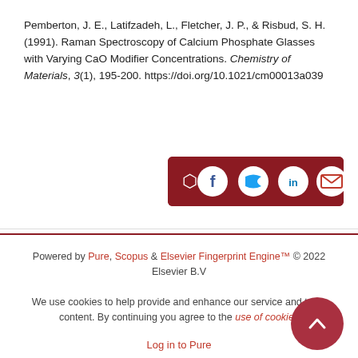Pemberton, J. E., Latifzadeh, L., Fletcher, J. P., & Risbud, S. H. (1991). Raman Spectroscopy of Calcium Phosphate Glasses with Varying CaO Modifier Concentrations. Chemistry of Materials, 3(1), 195-200. https://doi.org/10.1021/cm00013a039
[Figure (other): Share bar with social media icons: share arrow, Facebook, Twitter, LinkedIn, Email — white icons on dark red background]
Powered by Pure, Scopus & Elsevier Fingerprint Engine™ © 2022 Elsevier B.V
We use cookies to help provide and enhance our service and tailor content. By continuing you agree to the use of cookies
Log in to Pure
About web accessibility
Contact us